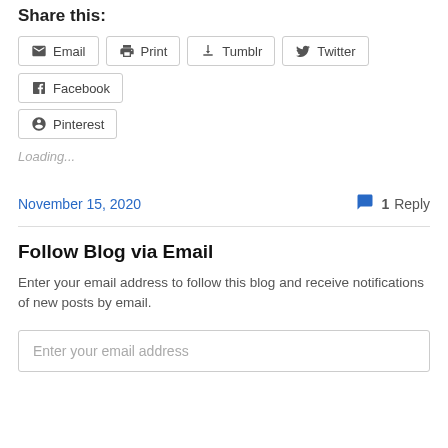Share this:
Email
Print
Tumblr
Twitter
Facebook
Pinterest
Loading...
November 15, 2020
1 Reply
Follow Blog via Email
Enter your email address to follow this blog and receive notifications of new posts by email.
Enter your email address